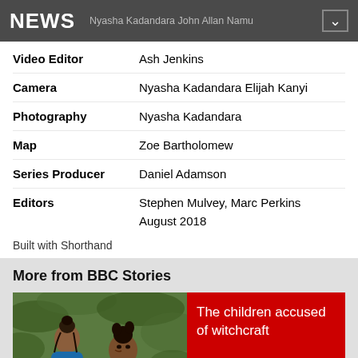NEWS  Nyasha Kadandara John Allan Namu
| Video Editor | Ash Jenkins |
| Camera | Nyasha Kadandara Elijah Kanyi |
| Photography | Nyasha Kadandara |
| Map | Zoe Bartholomew |
| Series Producer | Daniel Adamson |
| Editors | Stephen Mulvey, Marc Perkins |
|  | August 2018 |
Built with Shorthand
More from BBC Stories
[Figure (illustration): Illustrated image of two young women or girls with braided hair amid green foliage]
The children accused of witchcraft